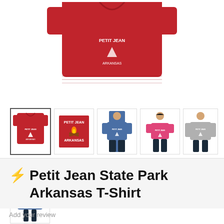[Figure (photo): Large main product image of a red t-shirt with Petit Jean State Park Arkansas design with campfire graphic]
[Figure (photo): Thumbnail row showing 5 product variants: red t-shirt, red square design graphic, blue t-shirt on male model, pink t-shirt on female model, gray long-sleeve on male model]
[Figure (photo): Second row thumbnail showing blue hoodie on male model]
⚡ Petit Jean State Park Arkansas T-Shirt
Add your review